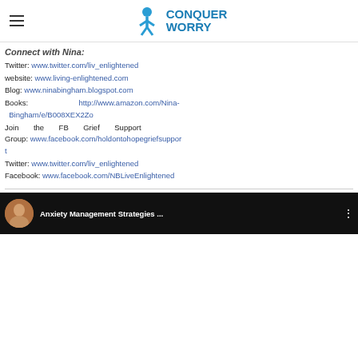Conquer Worry
Connect with Nina:
Twitter: www.twitter.com/liv_enlightened
website: www.living-enlightened.com
Blog: www.ninabingham.blogspot.com
Books: http://www.amazon.com/Nina-Bingham/e/B008XEX2Zo
Join the FB Grief Support Group: www.facebook.com/holdontohopegriefsupport
Twitter: www.twitter.com/liv_enlightened
Facebook: www.facebook.com/NBLiveEnlightened
[Figure (screenshot): Video thumbnail showing 'Anxiety Management Strategies ...' with avatar of a person and three-dot menu icon on dark background]